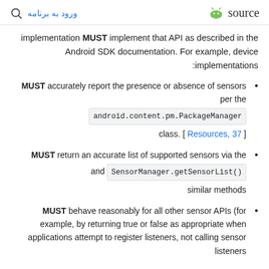ورود به برنامه  [search icon]  [Android logo] source
implementation MUST implement that API as described in the Android SDK documentation. For example, device implementations:
MUST accurately report the presence or absence of sensors per the android.content.pm.PackageManager class. [ Resources, 37 ]
MUST return an accurate list of supported sensors via the SensorManager.getSensorList() and similar methods
MUST behave reasonably for all other sensor APIs (for example, by returning true or false as appropriate when applications attempt to register listeners, not calling sensor listeners